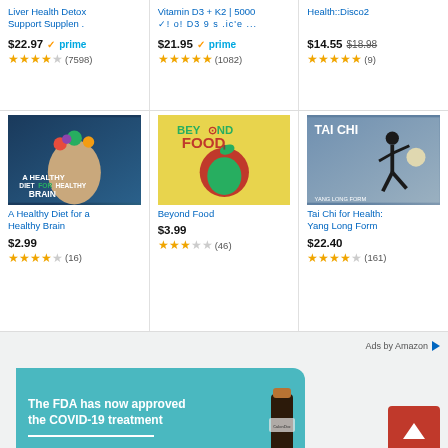Liver Health Detox Support Supplen .
$22.97 prime (7598)
Vitamin D3 + K2 | 5000 ✓! o! D3 9 s .ic'e ...
$21.95 prime (1082)
Health::Disco2
$14.55 $18.98 (9)
[Figure (photo): Book cover: A Healthy Diet for a Healthy Brain — woman with vegetables on her head]
A Healthy Diet for a Healthy Brain
$2.99 (16)
[Figure (photo): Book cover: Beyond Food — apple with broccoli inside on yellow background]
Beyond Food
$3.99 (46)
[Figure (photo): Book cover: Tai Chi for Health Yang Long Form — person doing tai chi]
Tai Chi for Health: Yang Long Form
$22.40 (161)
Ads by Amazon
[Figure (photo): Banner ad: The FDA has now approved the COVID-19 treatment, with a supplement bottle image]